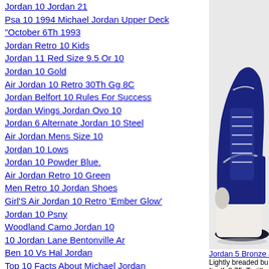Jordan 10 Jordan 21
Psa 10 1994 Michael Jordan Upper Deck "October 6Th 1993
Jordan Retro 10 Kids
Jordan 11 Red Size 9.5 Or 10
Jordan 10 Gold
Air Jordan 10 Retro 30Th Gg 8C
Jordan Belfort 10 Rules For Success
Jordan Wings Jordan Ovo 10
Jordan 6 Alternate Jordan 10 Steel
Air Jordan Mens Size 10
Jordan 10 Lows
Jordan 10 Powder Blue.
Air Jordan Retro 10 Green
Men Retro 10 Jordan Shoes
Girl'S Air Jordan 10 Retro 'Ember Glow'
Jordan 10 Psny
Woodland Camo Jordan 10
10 Jordan Lane Bentonville Ar
Ben 10 Vs Hal Jordan
Top 10 Facts About Michael Jordan
Jordan 5 Bronze Jordan 10 Nyc
Jordan Peterson Seattle 5/10/2018
Jordans For Toddlers Size 10
[Figure (photo): Air Jordan sneaker photo showing side/bottom view with navy blue and white colorway]
Jordan 5 Bronze Je
Lightly breaded bu Itself. 8.75. Tortill cheddar cheese, se